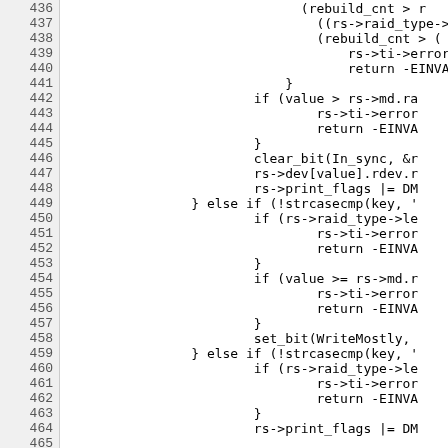[Figure (other): Source code listing with line numbers 436-465 showing C code for RAID device management functions including rebuild count checks, error handling, clear_bit, set_bit, print_flags operations, and strcasecmp key comparisons.]